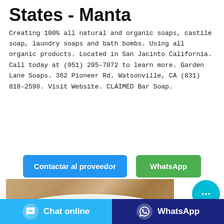States - Manta
Creating 100% all natural and organic soaps, castile soap, laundry soaps and bath bombs. Using all organic products. Located in San Jacinto California. Call today at (951) 295-7072 to learn more. Garden Lane Soaps. 362 Pioneer Rd. Watsonville, CA (831) 818-2598. Visit Website. CLAIMED Bar Soap.
[Figure (other): Button labeled 'Contactar al proveedor' in blue and button labeled 'WhatsApp' in green]
[Figure (photo): Photo of white soap bars on a wooden surface]
[Figure (other): Cyan circular chat bubble button with ellipsis icon]
[Figure (other): Bottom bar with 'Chat online' button in light blue and 'WhatsApp' button in dark blue]